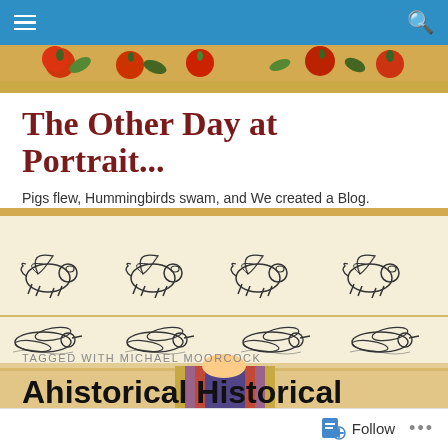Navigation bar with menu and search icons
[Figure (illustration): Decorative banner with colorful fruits (apples, berries, leaves) on golden/sandy background]
The Other Day at Portrait...
Pigs flew, Hummingbirds swam, and We created a Blog.
[Figure (illustration): Repeating illustration of flying pigs (top row) and swimming hummingbirds (bottom row) on cream/parchment background with a small colorful figure at the bottom center]
TAGGED WITH MICHAEL MOORCOCK
Ahistorical Historical Fiction,
Follow ...